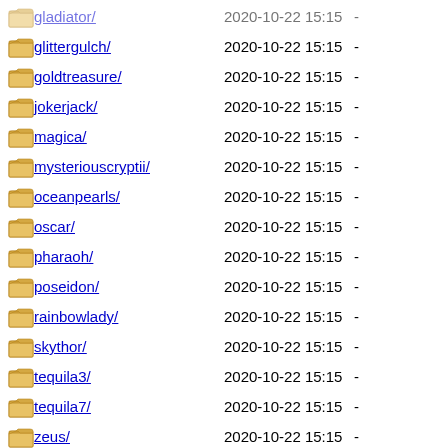gladiator/  2020-10-22 15:15  -
glittergulch/  2020-10-22 15:15  -
goldtreasure/  2020-10-22 15:15  -
jokerjack/  2020-10-22 15:15  -
magica/  2020-10-22 15:15  -
mysteriouscryptii/  2020-10-22 15:15  -
oceanpearls/  2020-10-22 15:15  -
oscar/  2020-10-22 15:15  -
pharaoh/  2020-10-22 15:15  -
poseidon/  2020-10-22 15:15  -
rainbowlady/  2020-10-22 15:15  -
skythor/  2020-10-22 15:15  -
tequila3/  2020-10-22 15:15  -
tequila7/  2020-10-22 15:15  -
zeus/  2020-10-22 15:15  -
Apache/2.4.41 (Ubuntu) Server at images.onlineslots.com Port 443